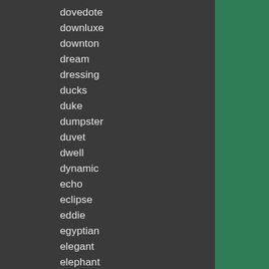dovedote
downluxe
downton
dream
dressing
ducks
duke
dumpster
duvet
dwell
dynamic
echo
eclipse
eddie
egyptian
elegant
elephant
ella
embroidered